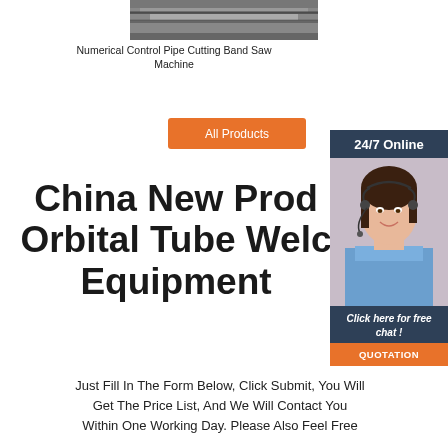[Figure (photo): Numerical Control Pipe Cutting Band Saw Machine photo, metallic machinery top view]
Numerical Control Pipe Cutting Band Saw Machine
[Figure (photo): Orange All Products button]
China New Products Orbital Tube Welding Equipment
[Figure (photo): Sidebar panel with 24/7 Online label, customer service agent photo, Click here for free chat text, and QUOTATION button]
Just Fill In The Form Below, Click Submit, You Will Get The Price List, And We Will Contact You Within One Working Day. Please Also Feel Free